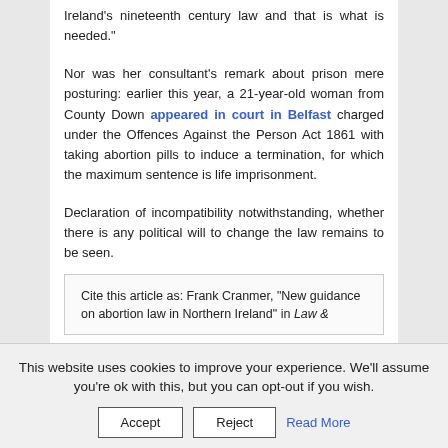Ireland's nineteenth century law and that is what is needed."
Nor was her consultant's remark about prison mere posturing: earlier this year, a 21-year-old woman from County Down appeared in court in Belfast charged under the Offences Against the Person Act 1861 with taking abortion pills to induce a termination, for which the maximum sentence is life imprisonment.
Declaration of incompatibility notwithstanding, whether there is any political will to change the law remains to be seen.
Cite this article as: Frank Cranmer, "New guidance on abortion law in Northern Ireland" in Law &
This website uses cookies to improve your experience. We'll assume you're ok with this, but you can opt-out if you wish.